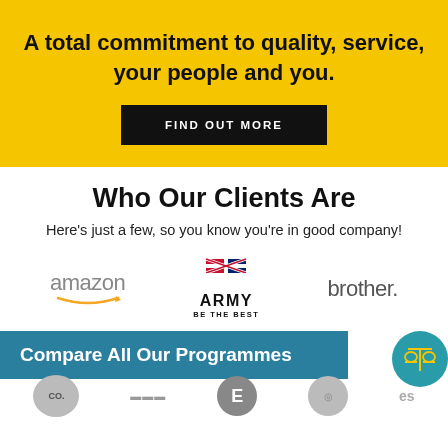A total commitment to quality, service, your people and you.
FIND OUT MORE
Who Our Clients Are
Here's just a few, so you know you're in good company!
[Figure (logo): Amazon logo (greyed), UK Army 'Be The Best' logo, Brother logo — three client logos in a row]
Compare All Our Programmes
[Figure (logo): Bottom row of partially visible client logos including Coates/Co. with circle, letter E circle, a wheel/globe logo, and an 'es' text, plus a teal balance scale icon circle on the right]